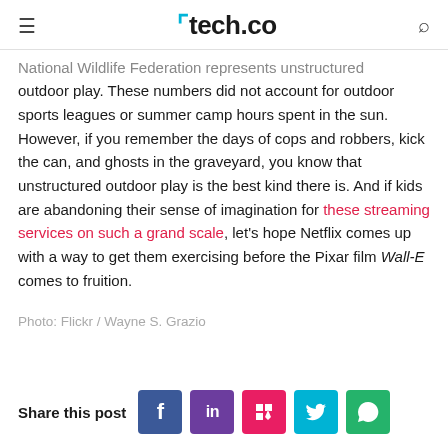tech.co
National Wildlife Federation represents unstructured outdoor play. These numbers did not account for outdoor sports leagues or summer camp hours spent in the sun. However, if you remember the days of cops and robbers, kick the can, and ghosts in the graveyard, you know that unstructured outdoor play is the best kind there is. And if kids are abandoning their sense of imagination for these streaming services on such a grand scale, let's hope Netflix comes up with a way to get them exercising before the Pixar film Wall-E comes to fruition.
Photo: Flickr / Wayne S. Grazio
Share this post